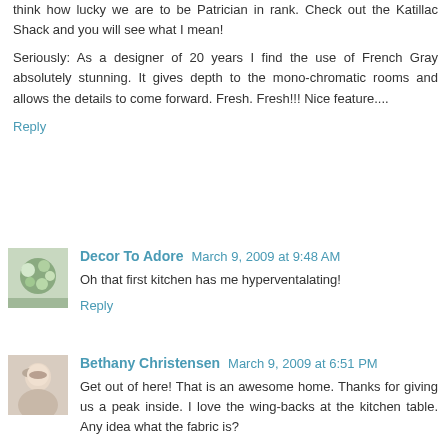think how lucky we are to be Patrician in rank. Check out the Katillac Shack and you will see what I mean!
Seriously: As a designer of 20 years I find the use of French Gray absolutely stunning. It gives depth to the mono-chromatic rooms and allows the details to come forward. Fresh. Fresh!!! Nice feature....
Reply
Decor To Adore March 9, 2009 at 9:48 AM
Oh that first kitchen has me hyperventalating!
Reply
Bethany Christensen March 9, 2009 at 6:51 PM
Get out of here! That is an awesome home. Thanks for giving us a peak inside. I love the wing-backs at the kitchen table. Any idea what the fabric is?
Reply